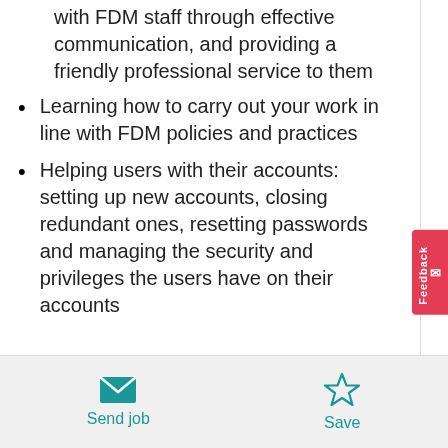with FDM staff through effective communication, and providing a friendly professional service to them
Learning how to carry out your work in line with FDM policies and practices
Helping users with their accounts: setting up new accounts, closing redundant ones, resetting passwords and managing the security and privileges the users have on their accounts
Ensuring that our IT assets are managed and audited